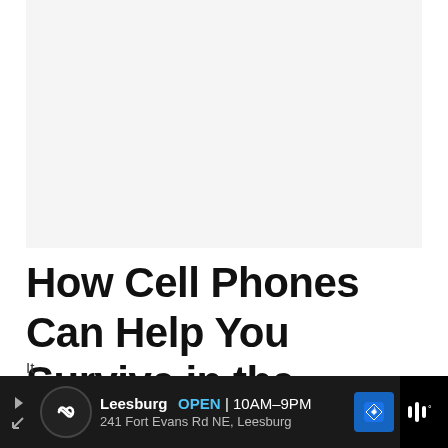[Figure (photo): Large image placeholder area at top of article page, light gray background]
How Cell Phones Can Help You Survive in the Wilderness
[Figure (other): Advertisement bar at bottom: Leesburg OPEN 10AM-9PM, 241 Fort Evans Rd NE, Leesburg with navigation icon]
It